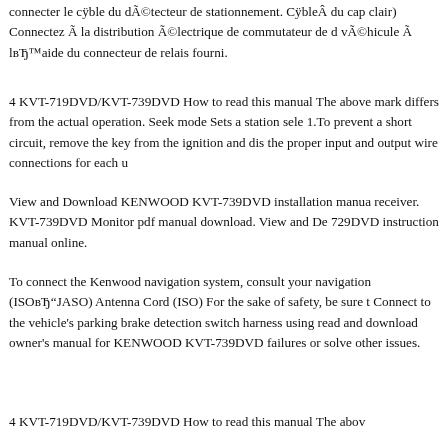connecter le câble du détecteur de stationnement. Câble du cap clair) Connectez à la distribution électrique de commutateur de d vé​hicule à l'aide du connecteur de relais fourni.
4 KVT-719DVD/KVT-739DVD How to read this manual The above mark differs from the actual operation. Seek mode Sets a station sele 1.To prevent a short circuit, remove the key from the ignition and dis the proper input and output wire connections for each u
View and Download KENWOOD KVT-739DVD installation manua receiver. KVT-739DVD Monitor pdf manual download. View and De 729DVD instruction manual online.
To connect the Kenwood navigation system, consult your navigation (ISOвЂ"JASO) Antenna Cord (ISO) For the sake of safety, be sure t Connect to the vehicle's parking brake detection switch harness using read and download owner's manual for KENWOOD KVT-739DVD failures or solve other issues.
4 KVT-719DVD/KVT-739DVD How to read this manual The abov